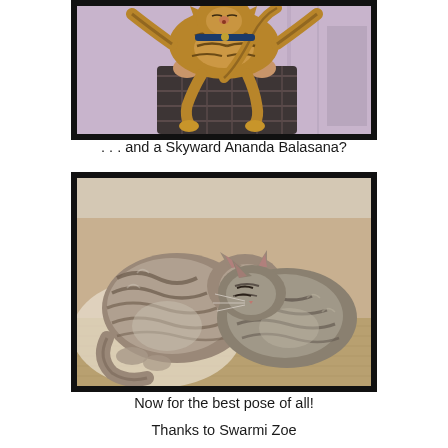[Figure (photo): A tabby cat being held up by a person, with legs spread and tail up, against a light purple wall background]
. . . and a Skyward Ananda Balasana?
[Figure (photo): Two tabby cats sleeping curled up together on a carpet]
Now for the best pose of all!
Thanks to Swarmi Zoe